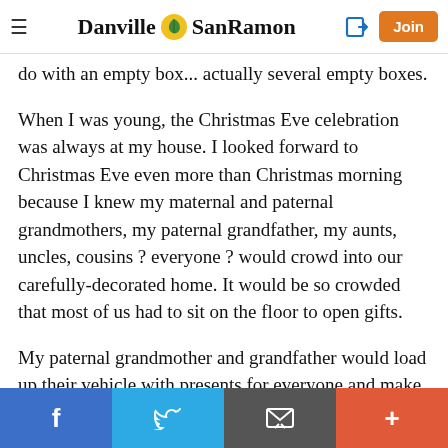Danville SanRamon
do with an empty box... actually several empty boxes.
When I was young, the Christmas Eve celebration was always at my house. I looked forward to Christmas Eve even more than Christmas morning because I knew my maternal and paternal grandmothers, my paternal grandfather, my aunts, uncles, cousins ? everyone ? would crowd into our carefully-decorated home. It would be so crowded that most of us had to sit on the floor to open gifts.
My paternal grandmother and grandfather would load up their vehicle with presents for everyone and make a three-hour drive (usually in a snow storm) to our house.
Social sharing bar: Facebook, Twitter, Email, More